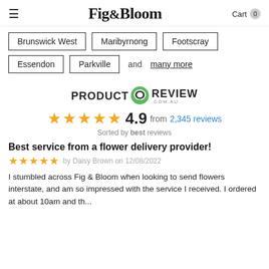Fig & Bloom — Cart 0
Brunswick West
Maribyrnong
Footscray
Essendon
Parkville
and many more
[Figure (logo): Product Review .com.au logo with green speech bubble icon]
4.9 from 2,345 reviews
Sorted by best reviews
Best service from a flower delivery provider!
by Daisy Brown on 12/08/2022
I stumbled across Fig & Bloom when looking to send flowers interstate, and am so impressed with the service I received. I ordered at about 10am and th...